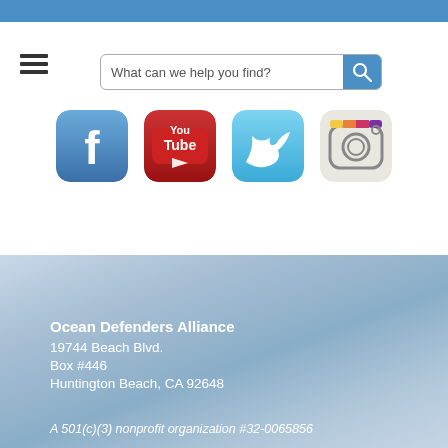[Figure (screenshot): Blue top navigation bar with hamburger menu icon on left and search bar reading 'What can we help you find?' with blue search button on right]
[Figure (infographic): Four social media icons in a row: Facebook (blue), YouTube (red), Twitter (light blue), Instagram (camera icon with colorful border)]
Ocean Defenders Alliance
19744 Beach Blvd.
Box #446
Huntington Beach, CA 92648
A 501(c)(3) nonprofit organization #32-0065856